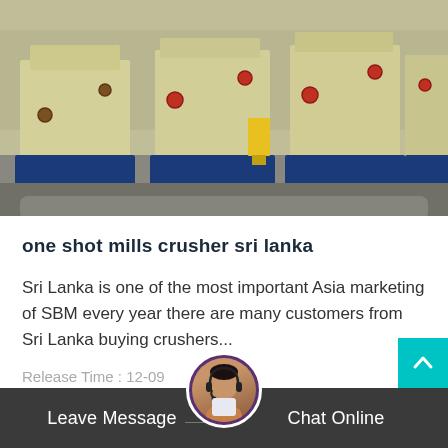[Figure (photo): Row of large yellow industrial crusher machines on blue metal bases, parked in an outdoor facility yard on concrete floor.]
one shot mills crusher sri lanka
Sri Lanka is one of the most important Asia marketing of SBM every year there are many customers from Sri Lanka buying crushers...
Release Time : 12-09
Leave Message   Chat Online